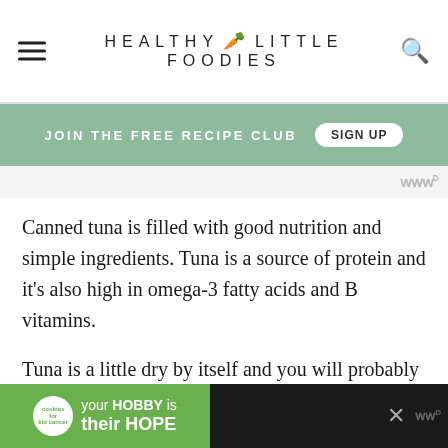HEALTHY LITTLE FOODIES
JOIN THE FREE RECIPE CLUB  SIGN UP
Canned tuna is filled with good nutrition and simple ingredients. Tuna is a source of protein and it's also high in omega-3 fatty acids and B vitamins.
Tuna is a little dry by itself and you will probably want to mix it with something before spreading. This tuna spread is made with greek yoghurt instead of mayonnaise and works great as a toast topping.
[Figure (infographic): Advertisement banner at bottom: cookies for kid cancer logo with 'your HOBBY is their HOPE' text on green and dark background]